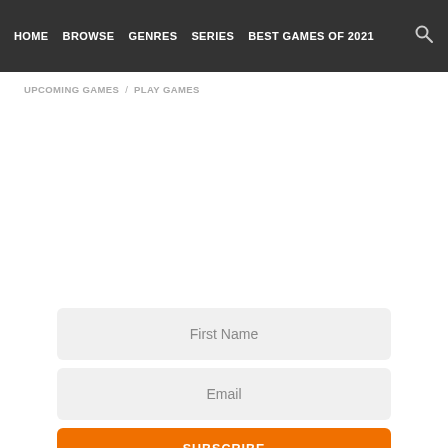HOME  BROWSE  GENRES  SERIES  BEST GAMES OF 2021
UPCOMING GAMES / PLAY GAMES
First Name
Email
SUBSCRIBE